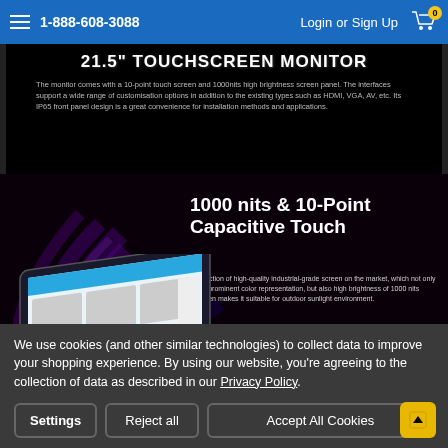1-888-608-3088  Login or Sign Up
21.5" TOUCHSCREEN MONITOR
The monitor comes with a 10-point touch screen and 1000nits high brightness screen panel. The interfaces support a wide range of customisation options in addition to the existing types such as HDMI, VGA, AV, etc. Its IP65 front panel design is a great convenience for installation methods and applications.
[Figure (photo): Product promotional image showing 1000 nits & 10-Point Capacitive Touch with purple swirl background and monitor/tablet mockup displaying food ordering interface]
1000 nits & 10-Point Capacitive Touch
Selection of high-quality industrial-grade screen on the market, which not only has prominent color representation, but also high brightness of 1000 nits screen makes it suitable for outdoor sunlight environment.
We use cookies (and other similar technologies) to collect data to improve your shopping experience. By using our website, you're agreeing to the collection of data as described in our Privacy Policy.